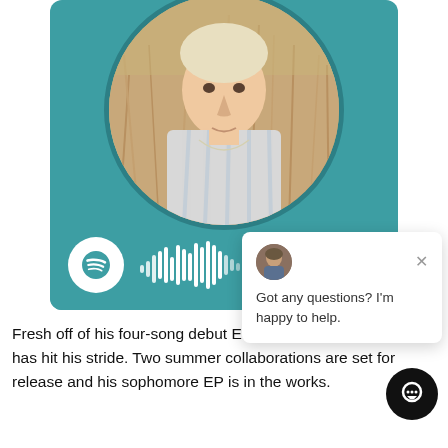[Figure (screenshot): Spotify artist card with circular artist photo (young man in wheat field wearing striped shirt) on teal background with Spotify logo and soundwave barcode at bottom]
[Figure (screenshot): Chat popup overlay with small avatar photo, close X button, and text 'Got any questions? I'm happy to help.']
Fresh off of his four-song debut EP 'Lovely Stranger' Paddock has hit his stride. Two summer collaborations are set for release and his sophomore EP is in the works.